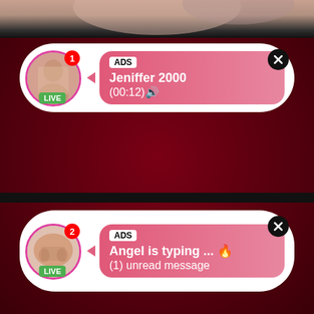[Figure (screenshot): Top photo strip showing partial view of a person]
[Figure (infographic): Notification card 1: ADS, Jeniffer 2000, (00:12), with LIVE badge and avatar, close button]
[Figure (infographic): Notification card 2: ADS, Angel is typing ... (1) unread message, with LIVE badge and avatar, close button]